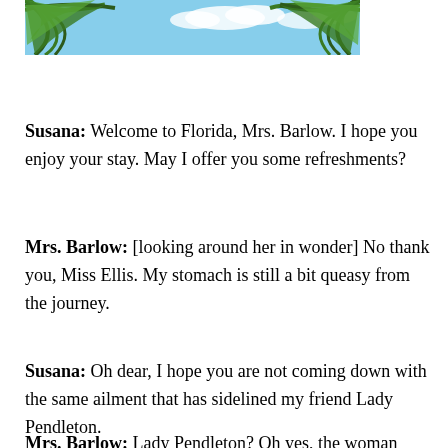[Figure (photo): Top portion of a photo showing palm tree leaves against a blue sky with clouds]
Susana: Welcome to Florida, Mrs. Barlow. I hope you enjoy your stay. May I offer you some refreshments?
Mrs. Barlow: [looking around her in wonder] No thank you, Miss Ellis. My stomach is still a bit queasy from the journey.
Susana: Oh dear, I hope you are not coming down with the same ailment that has sidelined my friend Lady Pendleton.
Mrs. Barlow: Lady Pendleton? Oh yes, the woman